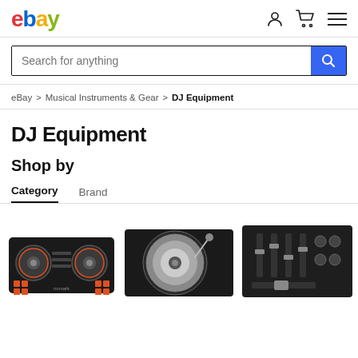ebay
Search for anything
eBay > Musical Instruments & Gear > DJ Equipment
DJ Equipment
Shop by
Category  Brand
[Figure (photo): Three DJ equipment product images: a DJ controller with two jog wheels, a turntable, and a DJ mixer, partially visible at the bottom of the page.]